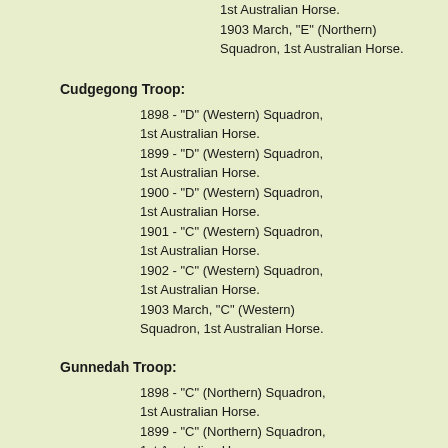1st Australian Horse. 1903 March, "E" (Northern) Squadron, 1st Australian Horse.
Cudgegong Troop:
1898 - "D" (Western) Squadron, 1st Australian Horse. 1899 - "D" (Western) Squadron, 1st Australian Horse. 1900 - "D" (Western) Squadron, 1st Australian Horse. 1901 - "C" (Western) Squadron, 1st Australian Horse. 1902 - "C" (Western) Squadron, 1st Australian Horse. 1903 March, "C" (Western) Squadron, 1st Australian Horse.
Gunnedah Troop:
1898 - "C" (Northern) Squadron, 1st Australian Horse. 1899 - "C" (Northern) Squadron, 1st Australian Horse. 1900 - "C" (Northern) Squadron, 1st Australian Horse. 1901 - "E" (Northern) Squadron,